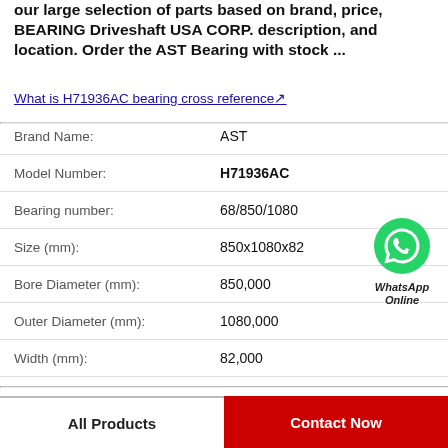our large selection of parts based on brand, price, BEARING Driveshaft USA CORP. description, and location. Order the AST Bearing with stock ...
What is H71936AC bearing cross reference↗
| Field | Value |
| --- | --- |
| Brand Name: | AST |
| Model Number: | H71936AC |
| Bearing number: | 68/850/1080 |
| Size (mm): | 850x1080x82 |
| Bore Diameter (mm): | 850,000 |
| Outer Diameter (mm): | 1080,000 |
| Width (mm): | 82,000 |
[Figure (illustration): WhatsApp Online green phone icon with label 'WhatsApp Online']
All Products
Contact Now